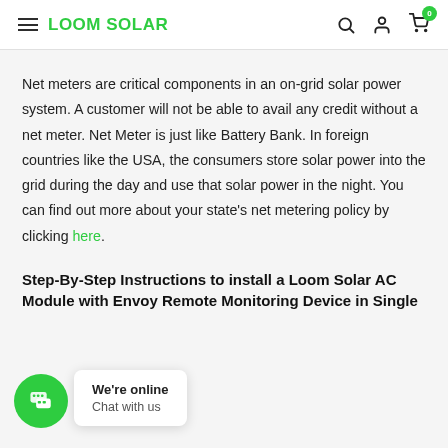LOOM SOLAR
Net meters are critical components in an on-grid solar power system. A customer will not be able to avail any credit without a net meter. Net Meter is just like Battery Bank. In foreign countries like the USA, the consumers store solar power into the grid during the day and use that solar power in the night. You can find out more about your state's net metering policy by clicking here.
Step-By-Step Instructions to install a Loom Solar AC Module with Envoy Remote Monitoring Device in Single